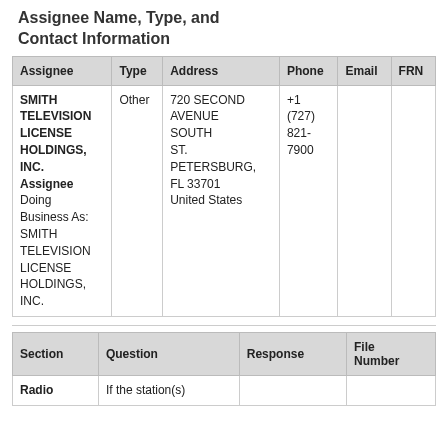Assignee Name, Type, and Contact Information
| Assignee | Type | Address | Phone | Email | FRN |
| --- | --- | --- | --- | --- | --- |
| SMITH TELEVISION LICENSE HOLDINGS, INC.
Assignee
Doing Business As:
SMITH TELEVISION LICENSE HOLDINGS, INC. | Other | 720 SECOND AVENUE SOUTH ST. PETERSBURG, FL 33701
United States | +1 (727) 821-7900 |  |  |
| Section | Question | Response | File Number |
| --- | --- | --- | --- |
| Radio | If the station(s) |  |  |